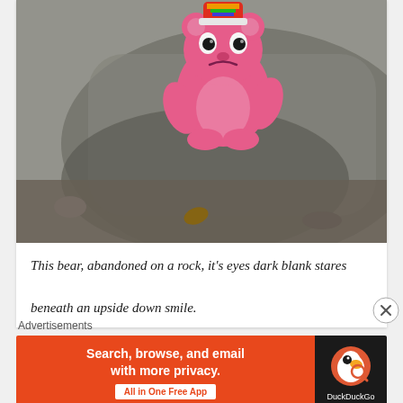[Figure (photo): A pink plush toy bear with large eyes and a rainbow hat, placed upside down on a large granite rock outdoors. The toy has dark blank-looking eyes and an upside-down smile. The background shows the rocky surface with some dirt and leaves.]
This bear, abandoned on a rock, it's eyes dark blank stares beneath an upside down smile.
Advertisements
[Figure (illustration): DuckDuckGo advertisement banner: orange background with white text 'Search, browse, and email with more privacy.' and 'All in One Free App'. Right side is dark with the DuckDuckGo duck logo and 'DuckDuckGo' text.]